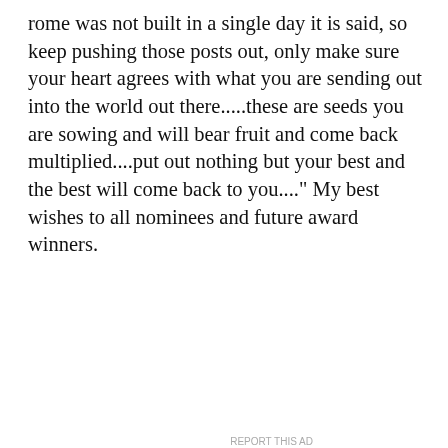rome was not built in a single day it is said, so keep pushing those posts out, only make sure your heart agrees with what you are sending out into the world out there.....these are seeds you are sowing and will bear fruit and come back multiplied....put out nothing but your best and the best will come back to you...." My best wishes to all nominees and future award winners.
★ Liked by 1 person
Reply
Advertisements
[Figure (screenshot): Jetpack advertisement banner with green background and Jetpack logo and text]
Advertisements
[Figure (screenshot): Pocket Casts advertisement: The go-to app for podcast lovers.]